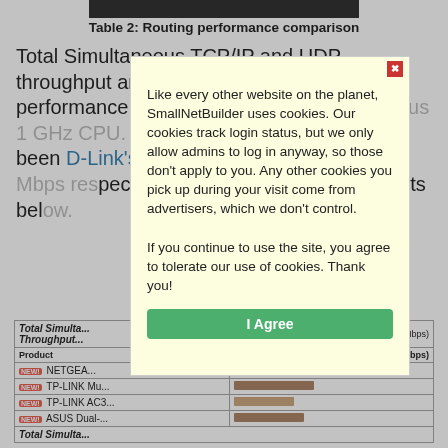Table 2: Routing performance comparison
Total Simultaneous TCP/IP and UDP throughput are proving to be better performance differentiators than the ubiquitous 1 GHz CPU. The highest performer that has been D-Link's DIR- with 1050 Mbps and 1900 Mbps respectively. Results for in the bar charts below.
| Product | Throughput (Mbps) |
| --- | --- |
| NEW! NETGEA... | bar |
| NEW! TP-LINK Mu... | bar |
| NEW! TP-LINK AC3... | bar |
| NEW! ASUS Dual-... | bar |
Like every other website on the planet, SmallNetBuilder uses cookies. Our cookies track login status, but we only allow admins to log in anyway, so those don't apply to you. Any other cookies you pick up during your visit come from advertisers, which we don't control. If you continue to use the site, you agree to tolerate our use of cookies. Thank you!